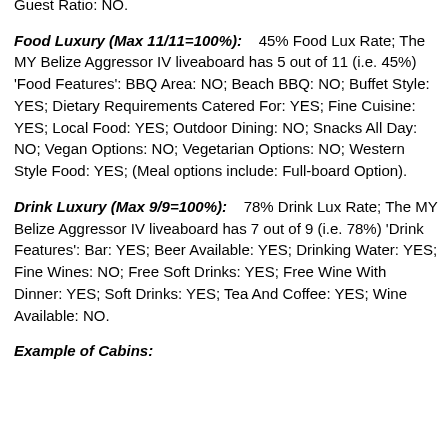Internet: NO; Laundry Service: NO; Nearly 1 to 1 Crew-to-Guest Ratio: NO.
Food Luxury (Max 11/11=100%): 45% Food Lux Rate; The MY Belize Aggressor IV liveaboard has 5 out of 11 (i.e. 45%) 'Food Features': BBQ Area: NO; Beach BBQ: NO; Buffet Style: YES; Dietary Requirements Catered For: YES; Fine Cuisine: YES; Local Food: YES; Outdoor Dining: NO; Snacks All Day: NO; Vegan Options: NO; Vegetarian Options: NO; Western Style Food: YES; (Meal options include: Full-board Option).
Drink Luxury (Max 9/9=100%): 78% Drink Lux Rate; The MY Belize Aggressor IV liveaboard has 7 out of 9 (i.e. 78%) 'Drink Features': Bar: YES; Beer Available: YES; Drinking Water: YES; Fine Wines: NO; Free Soft Drinks: YES; Free Wine With Dinner: YES; Soft Drinks: YES; Tea And Coffee: YES; Wine Available: NO.
Example of Cabins: